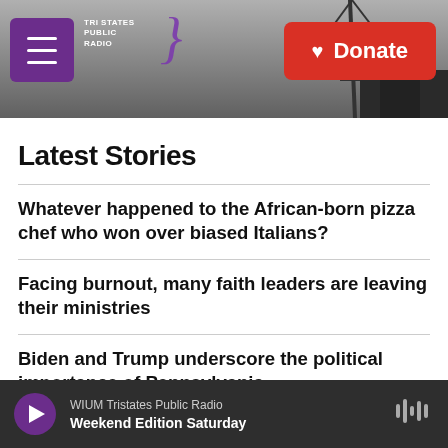[Figure (screenshot): Tri States Public Radio website header with logo, hamburger menu button, and red Donate button on a dark greyscale background photo of a radio tower]
Latest Stories
Whatever happened to the African-born pizza chef who won over biased Italians?
Facing burnout, many faith leaders are leaving their ministries
Biden and Trump underscore the political importance of Pennsylvania
WIUM Tristates Public Radio — Weekend Edition Saturday